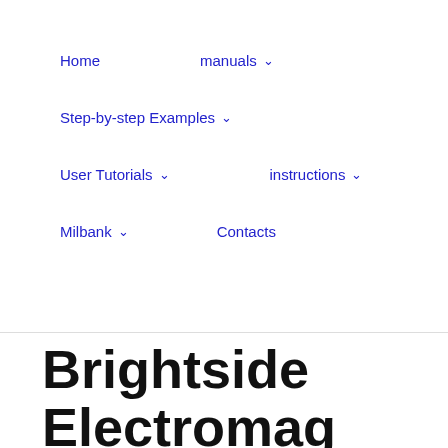Home    manuals ▾    Step-by-step Examples ▾    User Tutorials ▾    instructions ▾    Milbank ▾    Contacts
Brightside Electromagnetic